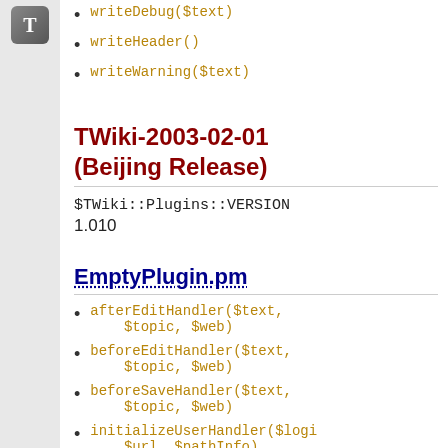writeDebug($text)
writeHeader()
writeWarning($text)
TWiki-2003-02-01 (Beijing Release)
$TWiki::Plugins::VERSION
1.010
EmptyPlugin.pm
afterEditHandler($text, $topic, $web)
beforeEditHandler($text, $topic, $web)
beforeSaveHandler($text, $topic, $web)
initializeUserHandler($login, $url, $pathInfo)
redirectCgiQueryHandler($que, $url)